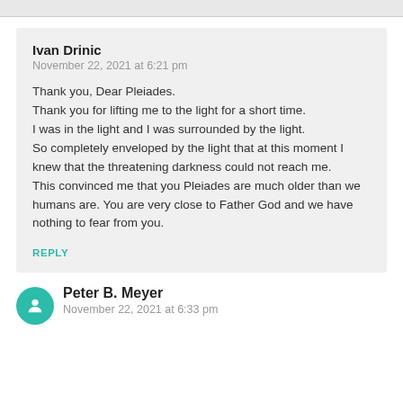Ivan Drinic
November 22, 2021 at 6:21 pm
Thank you, Dear Pleiades.
Thank you for lifting me to the light for a short time.
I was in the light and I was surrounded by the light.
So completely enveloped by the light that at this moment I knew that the threatening darkness could not reach me.
This convinced me that you Pleiades are much older than we humans are. You are very close to Father God and we have nothing to fear from you.
REPLY
[Figure (illustration): Teal/green circular avatar icon with a person silhouette in white]
Peter B. Meyer
November 22, 2021 at 6:33 pm